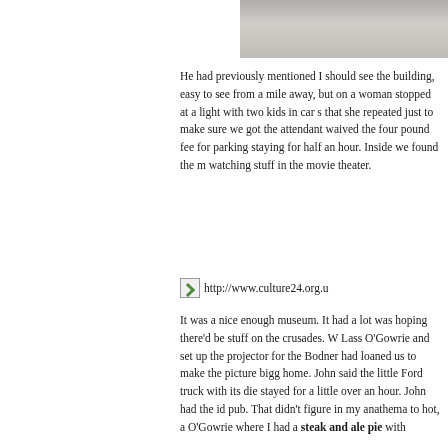[Figure (photo): Partial photograph visible at top right of page, showing a grey/brown textured surface]
He had previously mentioned I should see the building, easy to see from a mile away, but on a woman stopped at a light with two kids in car s that she repeated just to make sure we got the attendant waived the four pound fee for parking staying for half an hour. Inside we found the m watching stuff in the movie theater.
[Figure (photo): Broken image placeholder with URL http://www.culture24.org.u]
It was a nice enough museum. It had a lot was hoping there'd be stuff on the crusades. W Lass O'Gowrie and set up the projector for the Bodner had loaned us to make the picture bigg home. John said the little Ford truck with its die stayed for a little over an hour. John had the id pub. That didn't figure in my anathema to hot, a O'Gowrie where I had a steak and ale pie with